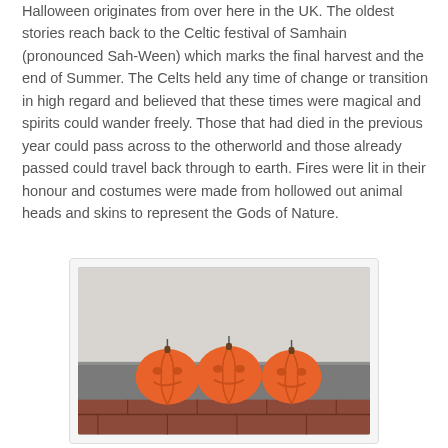Halloween originates from over here in the UK. The oldest stories reach back to the Celtic festival of Samhain (pronounced Sah-Ween) which marks the final harvest and the end of Summer. The Celts held any time of change or transition in high regard and believed that these times were magical and spirits could wander freely. Those that had died in the previous year could pass across to the otherworld and those already passed could travel back through to earth. Fires were lit in their honour and costumes were made from hollowed out animal heads and skins to represent the Gods of Nature.
[Figure (photo): Three orange jack-o'-lantern shaped candles sitting on a dark stone or slate surface, photographed against a light grey/white background.]